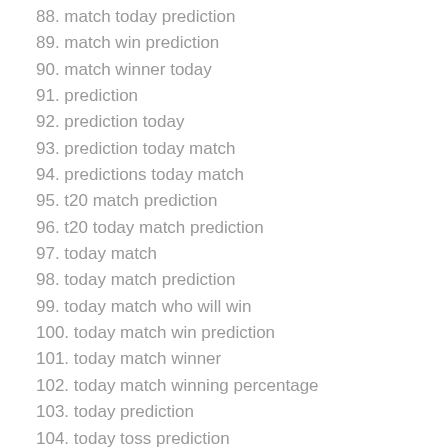88. match today prediction
89. match win prediction
90. match winner today
91. prediction
92. prediction today
93. prediction today match
94. predictions today match
95. t20 match prediction
96. t20 today match prediction
97. today match
98. today match prediction
99. today match who will win
100. today match win prediction
101. today match winner
102. today match winning percentage
103. today prediction
104. today toss prediction
105. todays match
106. todays match prediction